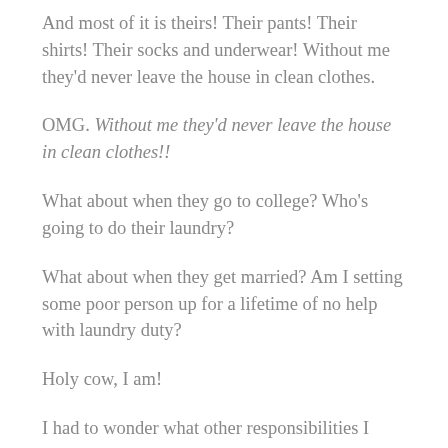And most of it is theirs! Their pants! Their shirts! Their socks and underwear! Without me they'd never leave the house in clean clothes.
OMG. Without me they'd never leave the house in clean clothes!!
What about when they go to college? Who's going to do their laundry?
What about when they get married? Am I setting some poor person up for a lifetime of no help with laundry duty?
Holy cow, I am!
I had to wonder what other responsibilities I